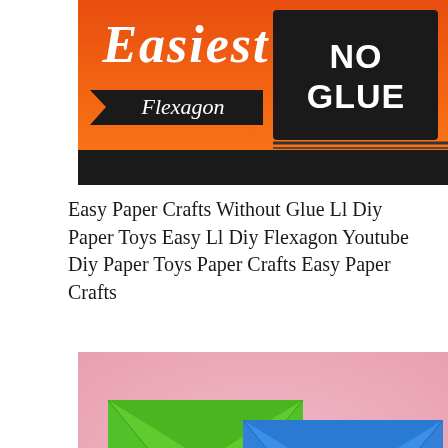[Figure (illustration): Craft thumbnail image showing orange background with 'Easiest Flexagon' text in script and 'NO GLUE' in bold black-bordered white text on dark panel, with black bar beneath]
Easy Paper Crafts Without Glue Ll Diy Paper Toys Easy Ll Diy Flexagon Youtube Diy Paper Toys Paper Crafts Easy Paper Crafts
[Figure (photo): Two origami-style paper envelopes on pink background — a green one on the left and a blue one on the right, both folded from single sheets with diagonal corner folds visible]